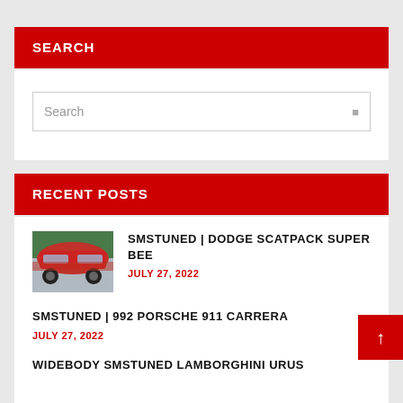SEARCH
Search
RECENT POSTS
SMSTUNED | DODGE SCATPACK SUPER BEE
JULY 27, 2022
SMSTUNED | 992 PORSCHE 911 CARRERA
JULY 27, 2022
WIDEBODY SMSTUNED LAMBORGHINI URUS